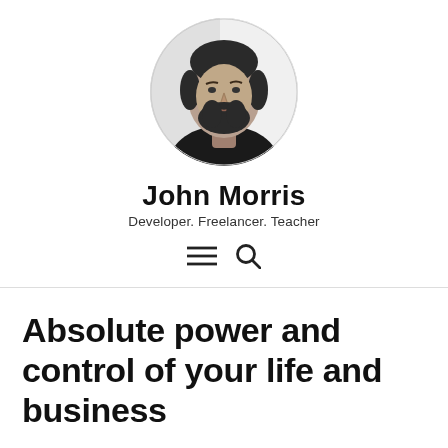[Figure (photo): Black and white circular portrait photo of a bearded man]
John Morris
Developer. Freelancer. Teacher
[Figure (other): Navigation icons: hamburger menu and search magnifying glass]
Absolute power and control of your life and business